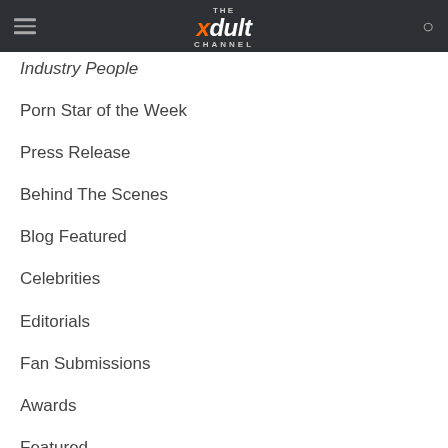THE xdult CHANNEL
Industry People
Porn Star of the Week
Press Release
Behind The Scenes
Blog Featured
Celebrities
Editorials
Fan Submissions
Awards
Featured
Gossip
Interviews